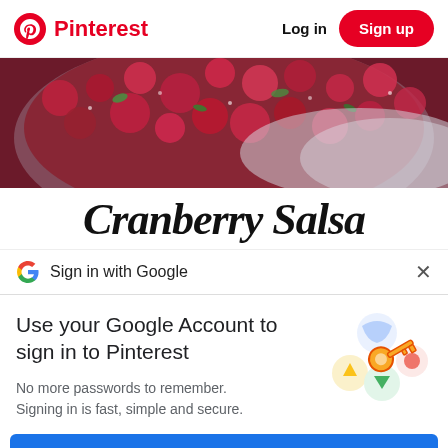Pinterest  Log in  Sign up
[Figure (photo): Close-up photo of cranberry salsa in a white bowl — red cranberries, green herbs, colorful mixture]
Cranberry Salsa
Sign in with Google
Use your Google Account to sign in to Pinterest
No more passwords to remember. Signing in is fast, simple and secure.
[Figure (illustration): Google key illustration with colorful circular badges and a golden key]
Continue